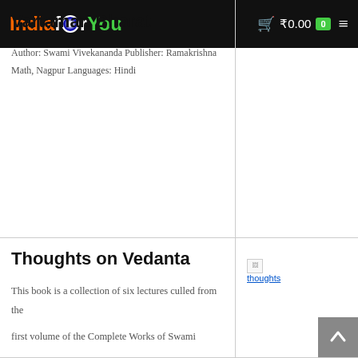IndiaforYou — ₹0.00 0
Vartaman Bharat
Author: Swami Vivekananda Publisher: Ramakrishna Math, Nagpur Languages: Hindi
Thoughts on Vedanta
[Figure (photo): Broken thumbnail image for Thoughts on Vedanta book]
This book is a collection of six lectures culled from the first volume of the Complete Works of Swami Vivekananda. As the title suggests, it chiefly deals with the Vedanta philosophy and its different aspects, including